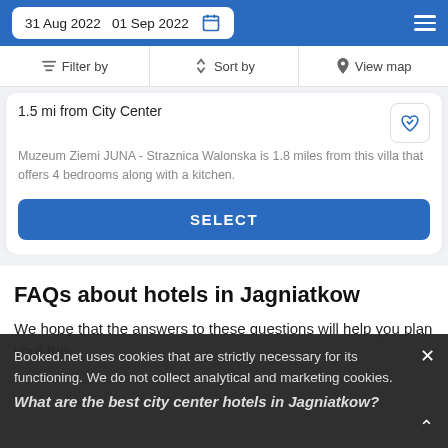31 Aug 2022  01 Sep 2022
Filter by  Sort by  View map
1.5 mi from City Center
Muzeum Ziemi JUNA - Straznica Walonska is 1.8 miles from this villa that offers 4 bedrooms along with a kitchen.
SELECT
FAQs about hotels in Jagniatkow
We hope that the answers to these questions will help you plan your trip
Booked.net uses cookies that are strictly necessary for its functioning. We do not collect analytical and marketing cookies.
What are the best city center hotels in Jagniatkow?